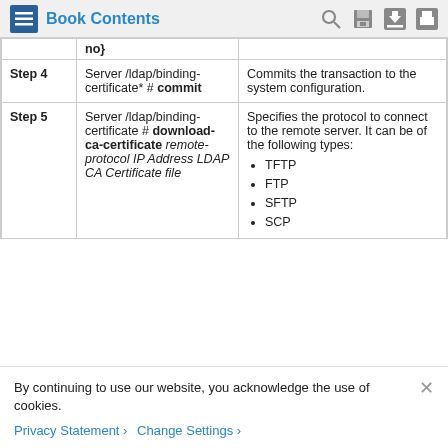Book Contents
| Step | Command | Description |
| --- | --- | --- |
|  | no} |  |
| Step 4 | Server /ldap/binding-certificate* # commit | Commits the transaction to the system configuration. |
| Step 5 | Server /ldap/binding-certificate # download-ca-certificate remote-protocol IP Address LDAP CA Certificate file | Specifies the protocol to connect to the remote server. It can be of the following types: TFTP, FTP, SFTP, SCP |
By continuing to use our website, you acknowledge the use of cookies.
Privacy Statement > Change Settings >